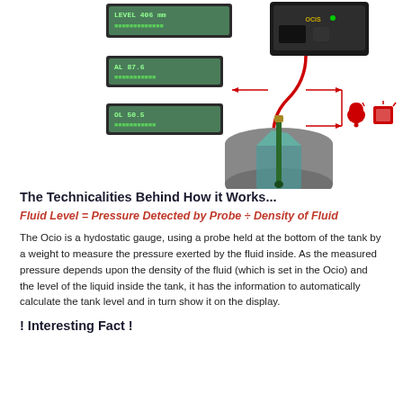[Figure (engineering-diagram): Hydrostatic fluid level gauge system diagram showing a cylindrical tank with a probe inserted, connected via a red cable to a control unit. Three green LCD display screens show LEVEL, AL, and OL readings. Icons for alarm bell and warning light are shown on the right side.]
The Technicalities Behind How it Works...
The Ocio is a hydostatic gauge, using a probe held at the bottom of the tank by a weight to measure the pressure exerted by the fluid inside. As the measured pressure depends upon the density of the fluid (which is set in the Ocio) and the level of the liquid inside the tank, it has the information to automatically calculate the tank level and in turn show it on the display.
! Interesting Fact !